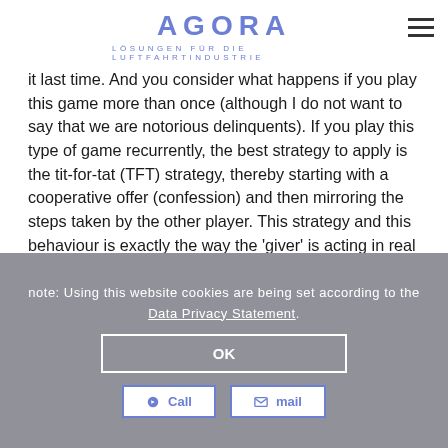AGORA — LÖSUNGEN FÜR DIE LUFTFAHRTINDUSTRIE
it last time. And you consider what happens if you play this game more than once (although I do not want to say that we are notorious delinquents). If you play this type of game recurrently, the best strategy to apply is the tit-for-tat (TFT) strategy, thereby starting with a cooperative offer (confession) and then mirroring the steps taken by the other player. This strategy and this behaviour is exactly the way the 'giver' is acting in real life! At the beginning of each transaction he/she offers a helping hand. If this offer is benevolently accepted and reciprocated by the vis-á-vis then they have found a basis to deal with each other that is beneficial to both. If the other party is deviating from this path the 'giver' is paying this behaviour back in kind. And he/she sticks to it, as long as the other party is sticking to this way of dealing with each other. The interesting feature of the TFT strategy is that the other party gets a clear picture of what to
note: Using this website cookies are being set according to the Data Privacy Statement.
OK
Call   mail